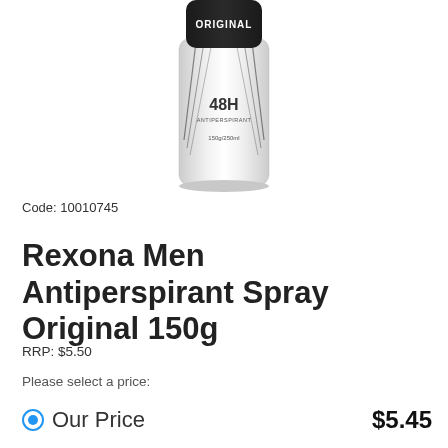[Figure (photo): Rexona Men Antiperspirant Spray Original 150g product can, white with black accents and ORIGINAL label at top, 48H antiperspirant text visible, 150g/250ml size marking]
Code: 10010745
Rexona Men Antiperspirant Spray Original 150g
RRP: $5.50
Please select a price:
Our Price   $5.45